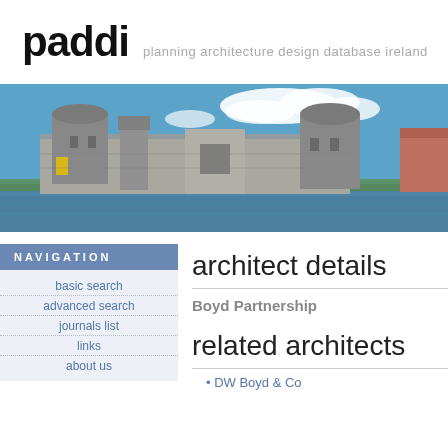paddi  planning architecture design database ireland
[Figure (photo): Photograph of King John's Castle in Limerick, Ireland, with stone towers reflected in the River Shannon under a blue sky with clouds.]
NAVIGATION
basic search
advanced search
journals list
links
about us
architect details
Boyd Partnership
related architects
DW Boyd & Co